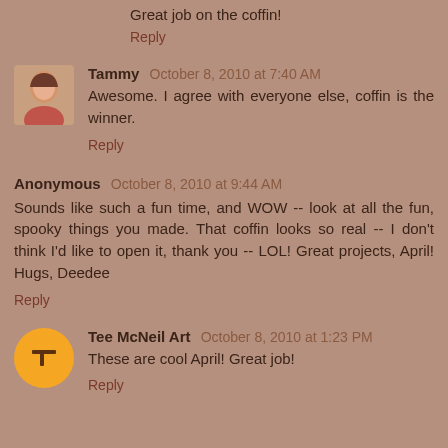Great job on the coffin!
Reply
Tammy  October 8, 2010 at 7:40 AM
Awesome. I agree with everyone else, coffin is the winner.
Reply
Anonymous  October 8, 2010 at 9:44 AM
Sounds like such a fun time, and WOW -- look at all the fun, spooky things you made. That coffin looks so real -- I don't think I'd like to open it, thank you -- LOL! Great projects, April! Hugs, Deedee
Reply
Tee McNeil Art  October 8, 2010 at 1:23 PM
These are cool April! Great job!
Reply